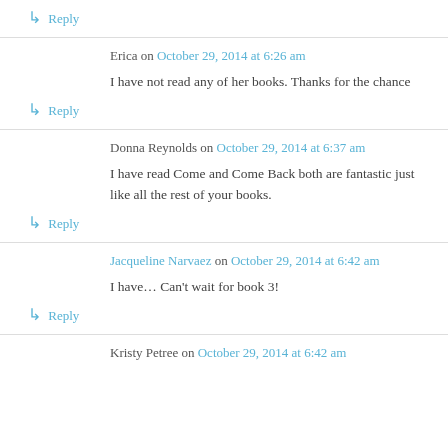↳ Reply
Erica on October 29, 2014 at 6:26 am
I have not read any of her books. Thanks for the chance
↳ Reply
Donna Reynolds on October 29, 2014 at 6:37 am
I have read Come and Come Back both are fantastic just like all the rest of your books.
↳ Reply
Jacqueline Narvaez on October 29, 2014 at 6:42 am
I have… Can't wait for book 3!
↳ Reply
Kristy Petree on October 29, 2014 at 6:42 am